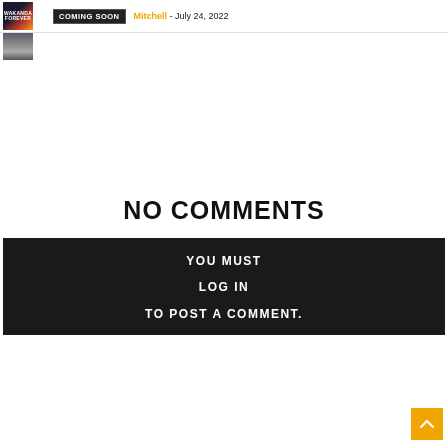[Figure (screenshot): Movie poster thumbnail for 'Wakanda Forever' with dark stylized text and imagery]
COMING SOON
Mitchell - July 24, 2022
[Figure (photo): Partial movie image showing a figure in a coat]
[Figure (other): Close button X in top right corner]
NO COMMENTS
YOU MUST
LOG IN
TO POST A COMMENT.
[Figure (other): Orange scroll-to-top button with upward arrow at bottom right]